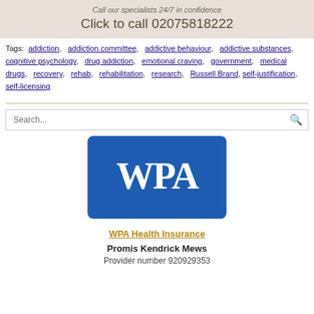Call our specialists 24/7 in confidence
Click to call 02075818222
Tags: addiction, addiction committee, addictive behaviour, addictive substances, cognitive psychology, drug addiction, emotional craving, government, medical drugs, recovery, rehab, rehabilitation, research, Russell Brand, self-justification, self-licensing
[Figure (logo): WPA Health Insurance logo — white WPA text on blue rounded rectangle background]
WPA Health Insurance
Promis Kendrick Mews
Provider number 920929353